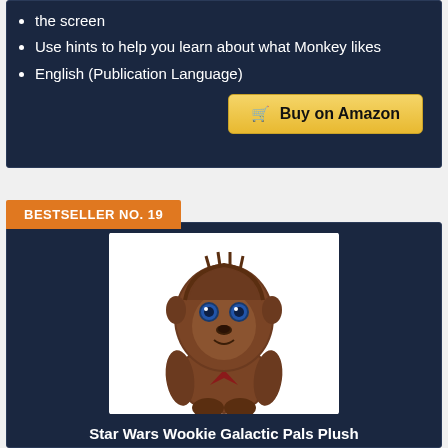the screen
Use hints to help you learn about what Monkey likes
English (Publication Language)
Buy on Amazon
BESTSELLER NO. 19
[Figure (photo): Star Wars Wookie Chewbacca plush toy with red bandana scarf, brown furry body, big blue eyes, standing upright]
Star Wars Wookie Galactic Pals Plush